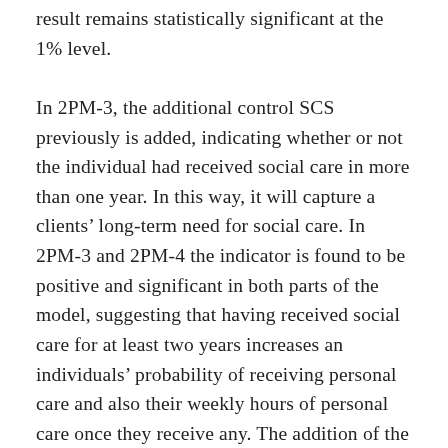result remains statistically significant at the 1% level.

In 2PM-3, the additional control SCS previously is added, indicating whether or not the individual had received social care in more than one year. In this way, it will capture a clients' long-term need for social care. In 2PM-3 and 2PM-4 the indicator is found to be positive and significant in both parts of the model, suggesting that having received social care for at least two years increases an individuals' probability of receiving personal care and also their weekly hours of personal care once they receive any. The addition of the SCS previously indicator reduces the overall incremental effect of an unpaid carer to 1.24, or about 1 hour and 14 minutes per week. That is, personal care clients with an unpaid carer receive approximately...